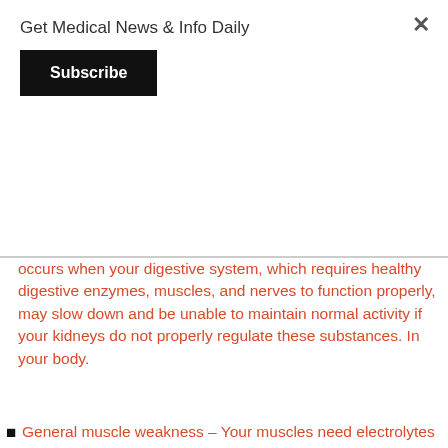Get Medical News & Info Daily
Subscribe
occurs when your digestive system, which requires healthy digestive enzymes, muscles, and nerves to function properly, may slow down and be unable to maintain normal activity if your kidneys do not properly regulate these substances. In your body.
General muscle weakness – Your muscles need electrolytes to function properly. With kidney failure, muscle function is impaired .
Fast, slow, or irregular heartbeat: The heartbeat is controlled by the muscles of the heart (heart), which depend on a number of important electrolytes to function properly. Your body tries to keep your heart working for as long as possible. If your body cannot compensate for the effects of acute kidney failure, your heart function can be impaired, causing irregular heart rhythms. Ultimately, this